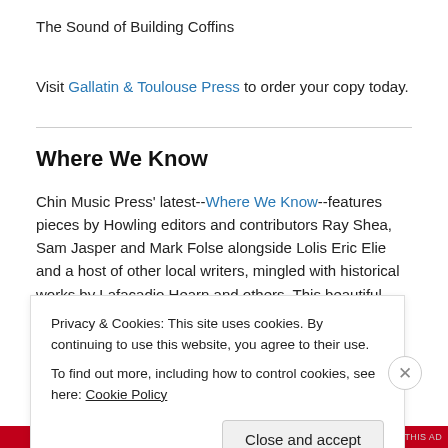The Sound of Building Coffins
Visit Gallatin & Toulouse Press to order your copy today.
Where We Know
Chin Music Press' latest--Where We Know--features pieces by Howling editors and contributors Ray Shea, Sam Jasper and Mark Folse alongside Lolis Eric Elie and a host of other local writers, mingled with historical works by Lafacadio Hearn and others. This beautiful book is itself a work of art with fabulous endplate illustrations. Get your's today.
Privacy & Cookies: This site uses cookies. By continuing to use this website, you agree to their use.
To find out more, including how to control cookies, see here: Cookie Policy
Close and accept